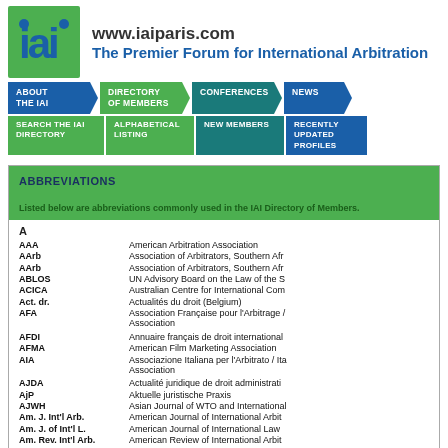[Figure (logo): IAI logo - green box with blue 'iai' text]
www.iaiparis.com
The Premier Forum for International Arbitration
[Figure (screenshot): Navigation bar with buttons: ABOUT THE IAI, DIRECTORY OF MEMBERS, CONFERENCES, NEWS, SEARCH THE IAI DIRECTORY, ALPHABETICAL LISTING, NEW MEMBERS, RECENTLY UPDATED PROFILES]
ABBREVIATIONS
Listed below are abbreviations commonly used in the IAI Directory of Members.
| Abbreviation | Full Name |
| --- | --- |
| AAA | American Arbitration Association |
| AArb | Association of Arbitrators, Southern Afr |
| AArb | Association of Arbitrators, Southern Afr |
| ABLOS | UN Advisory Board on the Law of the S |
| ACICA | Australian Centre for International Com |
| Act. dr. | Actualités du droit (Belgium) |
| AFA | Association Française pour l'Arbitrage / Association |
| AFDI | Annuaire français de droit international |
| AFMA | American Film Marketing Association |
| AIA | Associazione Italiana per l'Arbitrato / Ita Association |
| AJDA | Actualité juridique de droit administrati |
| AjP | Aktuelle juristische Praxis |
| AJWH | Asian Journal of WTO and International |
| Am. J. Int'l Arb. | American Journal of International Arbit |
| Am. J. of Int'l L. | American Journal of International Law |
| Am. Rev. Int'l Arb. | American Review of International Arbit |
| Am. U. Int'l L. Rev. | The American University International L |
| AMINZArb | Arbitration & Mediation Institute of Ne |
| An. Int. Arb. | Anuario Latinoamericana de Arbitraci |